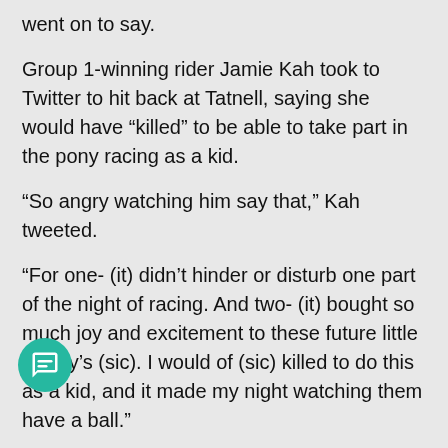went on to say.
Group 1-winning rider Jamie Kah took to Twitter to hit back at Tatnell, saying she would have “killed” to be able to take part in the pony racing as a kid.
“So angry watching him say that,” Kah tweeted.
“For one- (it) didn’t hinder or disturb one part of the night of racing. And two- (it) bought so much joy and excitement to these future little jockey’s (sic). I would of (sic) killed to do this as a kid, and it made my night watching them have a ball.”
Kah was also seen talking to the aspiring hoops, sharing stories and having photos taken with them, which no doubt would have made the young riders nights.
Queensland jockey Stephanie Thornton was also in support of the idea, saying Tatnell’s opinion was against the